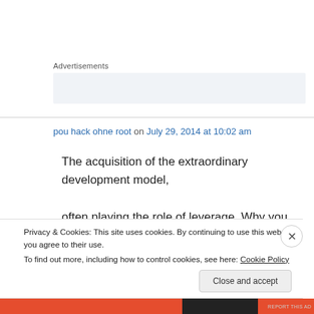Advertisements
pou hack ohne root on July 29, 2014 at 10:02 am
The acquisition of the extraordinary development model,
often playing the role of leverage. Why you should buy
Privacy & Cookies: This site uses cookies. By continuing to use this website, you agree to their use.
To find out more, including how to control cookies, see here: Cookie Policy
Close and accept